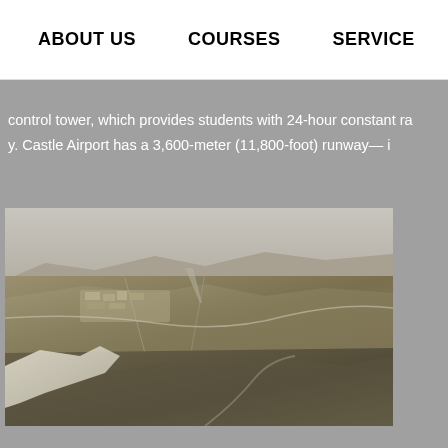E    ABOUT US    COURSES    SERVICE    CARE
control tower, which provides students with 24-hour constant ra... Castle Airport has a 3,600-meter (11,800-foot) runway— i...
[Figure (photo): Aerial photograph of Castle Airport area showing runway, surrounding farmland, a body of water (reservoir) in the lower left, and scattered settlement/buildings in the mid-ground.]